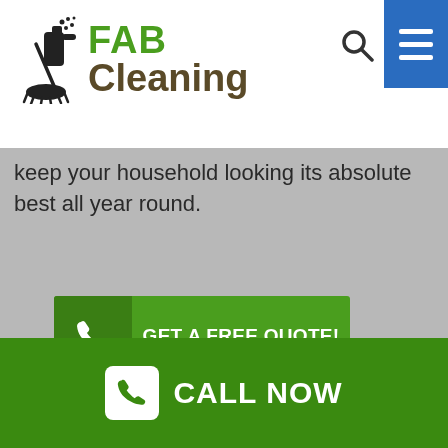[Figure (logo): FAB Cleaning logo with cleaning equipment icon, green FAB text and brown Cleaning text]
keep your household looking its absolute best all year round.
GET A FREE QUOTE!
SCHEDULE YOUR APPOINTMENT
Need more information? Complete the form below and we'll get back to you asap!
CALL NOW